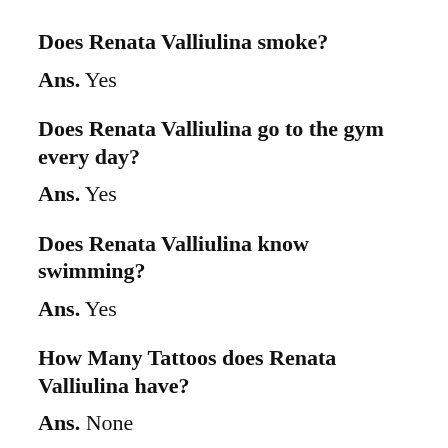Does Renata Valliulina smoke?
Ans. Yes
Does Renata Valliulina go to the gym every day?
Ans. Yes
Does Renata Valliulina know swimming?
Ans. Yes
How Many Tattoos does Renata Valliulina have?
Ans. None